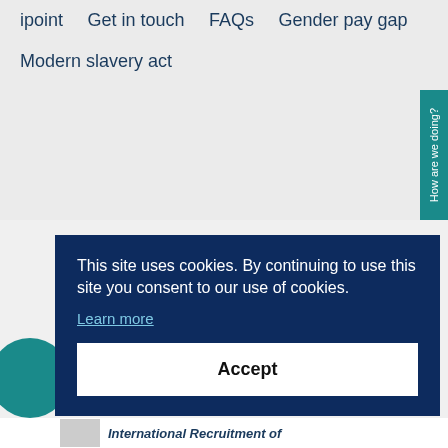ipoint
Get in touch
FAQs
Gender pay gap
Modern slavery act
This site uses cookies. By continuing to use this site you consent to our use of cookies.
Learn more
Accept
International Recruitment of